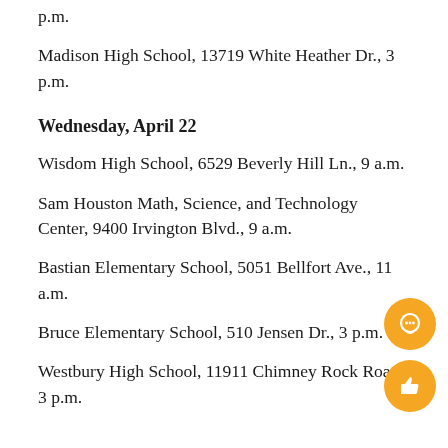p.m.
Madison High School, 13719 White Heather Dr., 3 p.m.
Wednesday, April 22
Wisdom High School, 6529 Beverly Hill Ln., 9 a.m.
Sam Houston Math, Science, and Technology Center, 9400 Irvington Blvd., 9 a.m.
Bastian Elementary School, 5051 Bellfort Ave., 11 a.m.
Bruce Elementary School, 510 Jensen Dr., 3 p.m.
Westbury High School, 11911 Chimney Rock Road, 3 p.m.